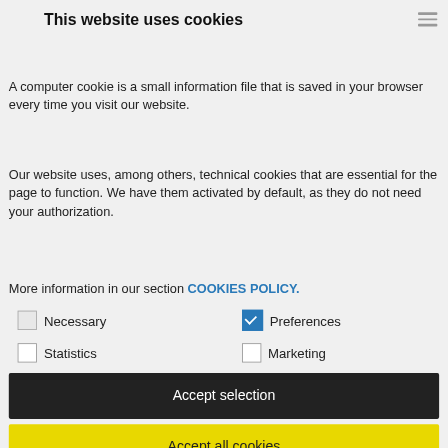This website uses cookies
A computer cookie is a small information file that is saved in your browser every time you visit our website.
Our website uses, among others, technical cookies that are essential for the page to function. We have them activated by default, as they do not need your authorization.
More information in our section COOKIES POLICY.
Necessary (checkbox: checked/greyed)
Preferences (checkbox: checked/blue)
Statistics (checkbox: unchecked)
Marketing (checkbox: unchecked)
Accept selection
Accept all cookies
Setting